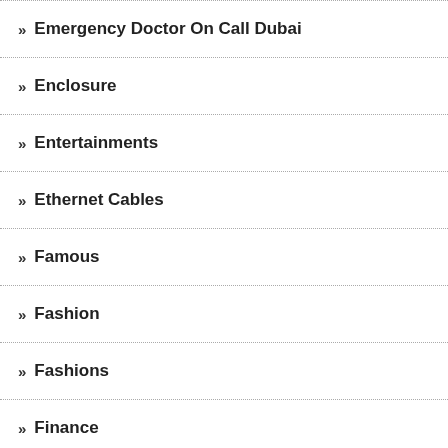Emergency Doctor On Call Dubai
Enclosure
Entertainments
Ethernet Cables
Famous
Fashion
Fashions
Finance
Finance Training
Finance Training Courses
Fitness
Flag Printing Sydney
Floor Standing Vanity Units UK